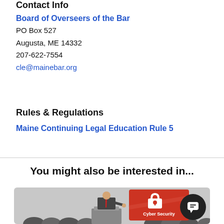Contact Info
Board of Overseers of the Bar
PO Box 527
Augusta, ME 14332
207-622-7554
cle@mainebar.org
Rules & Regulations
Maine Continuing Legal Education Rule 5
You might also be interested in...
[Figure (illustration): A grayscale illustration of a man in a suit speaking at a podium in front of an audience, with a red/orange slide screen behind him showing a padlock icon and the text 'Cyber Security']